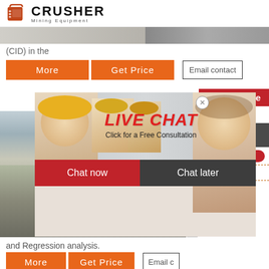[Figure (logo): Crusher Mining Equipment logo with red shopping bag icon and bold black CRUSHER text]
[Figure (photo): Two horizontal photo strips of mining/industrial equipment scenes]
(CID) in the
More   Get Price
Email contact
24Hrs Online
[Figure (screenshot): Live chat popup overlay with workers in hard hats, LIVE CHAT text, Chat now and Chat later buttons]
[Figure (photo): Mining equipment/crusher machinery images]
Need questions & suggestion? Chat Now
Enquiry
limingjlmofen@sina.com
and Regression analysis.
More   Get Price
Email c